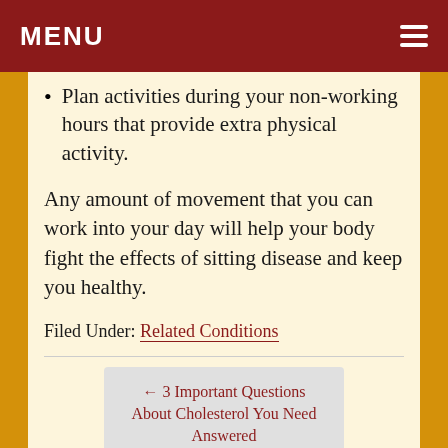MENU
Plan activities during your non-working hours that provide extra physical activity.
Any amount of movement that you can work into your day will help your body fight the effects of sitting disease and keep you healthy.
Filed Under: Related Conditions
← 3 Important Questions About Cholesterol You Need Answered
The Best Options for Lowering Triglycerides →